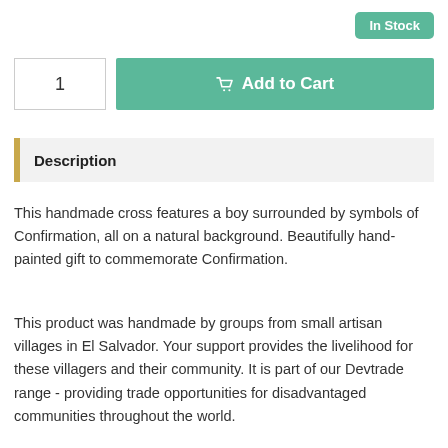In Stock
1
Add to Cart
Description
This handmade cross features a boy surrounded by symbols of Confirmation, all on a natural background. Beautifully hand-painted gift to commemorate Confirmation.
This product was handmade by groups from small artisan villages in El Salvador. Your support provides the livelihood for these villagers and their community. It is part of our Devtrade range - providing trade opportunities for disadvantaged communities throughout the world.